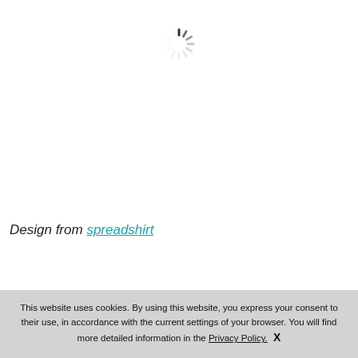[Figure (other): Loading spinner icon (circular dashed radial lines forming a spinner) centered near top of page]
Design from spreadshirt
This website uses cookies. By using this website, you express your consent to their use, in accordance with the current settings of your browser. You will find more detailed information in the Privacy Policy.  X